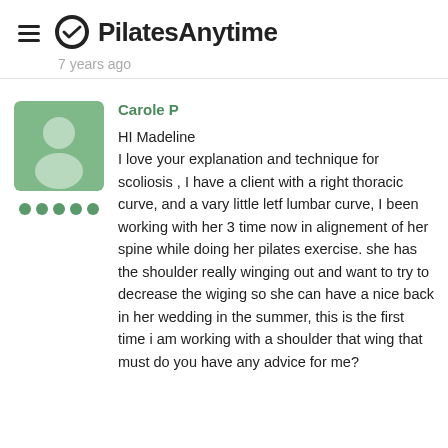PilatesAnytime
7 years ago
Carole P
HI Madeline
I love your explanation and technique for scoliosis , I have a client with a right thoracic curve, and a vary little letf lumbar curve, I been working with her 3 time now in alignement of her spine while doing her pilates exercise. she has the shoulder really winging out and want to try to decrease the wiging so she can have a nice back in her wedding in the summer, this is the first time i am working with a shoulder that wing that must do you have any advice for me?